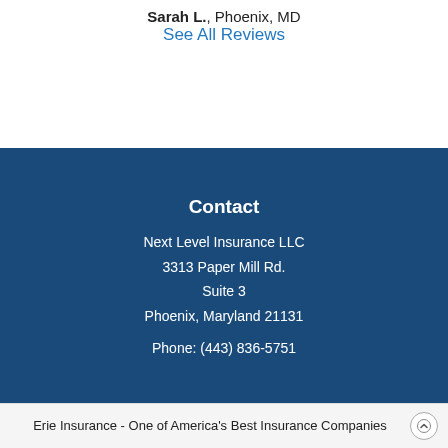Sarah L., Phoenix, MD
See All Reviews
Contact
Next Level Insurance LLC
3313 Paper Mill Rd.
Suite 3
Phoenix, Maryland 21131
Phone: (443) 836-5751
Erie Insurance - One of America's Best Insurance Companies